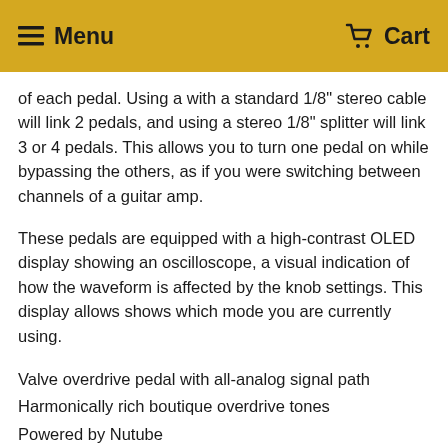Menu  Cart
of each pedal. Using a with a standard 1/8" stereo cable will link 2 pedals, and using a stereo 1/8" splitter will link 3 or 4 pedals. This allows you to turn one pedal on while bypassing the others, as if you were switching between channels of a guitar amp.
These pedals are equipped with a high-contrast OLED display showing an oscilloscope, a visual indication of how the waveform is affected by the knob settings. This display allows shows which mode you are currently using.
Valve overdrive pedal with all-analog signal path
Harmonically rich boutique overdrive tones
Powered by Nutube
Three output modes for use as a pedal or preamp
Selectable analog cabinet simulator
OLED display with oscilloscope
Active EQ to shape your signal